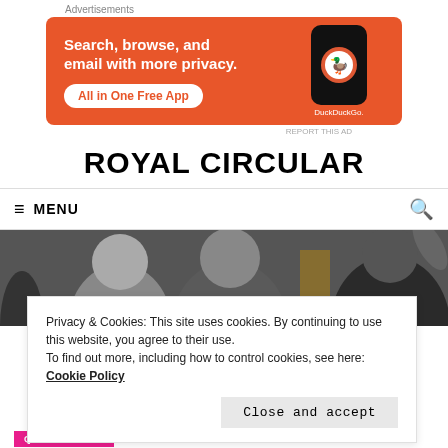Advertisements
[Figure (infographic): DuckDuckGo advertisement banner: orange background with text 'Search, browse, and email with more privacy. All in One Free App' and a smartphone showing DuckDuckGo logo]
ROYAL CIRCULAR
≡ MENU
[Figure (photo): Photo of an elderly couple, a woman with white hair and a man with glasses in dark suit, waving to a crowd]
Privacy & Cookies: This site uses cookies. By continuing to use this website, you agree to their use.
To find out more, including how to control cookies, see here: Cookie Policy
Close and accept